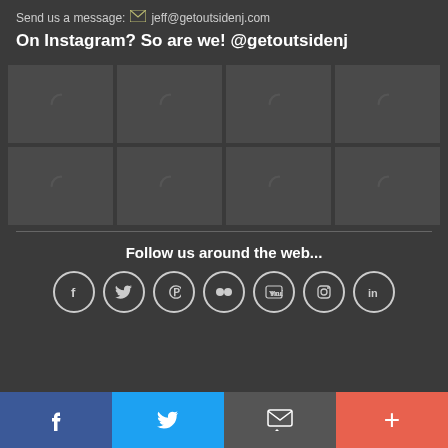Send us a message: jeff@getoutsidenj.com
On Instagram? So are we! @getoutsidenj
[Figure (other): 2x4 grid of Instagram image placeholders showing loading spinners]
Follow us around the web...
[Figure (other): Row of 7 social media icon circles: Facebook, Twitter, Pinterest, Flickr, YouTube, Instagram, LinkedIn]
[Figure (other): Bottom bar with 4 buttons: Facebook (blue), Twitter (light blue), Email/message (gray), Plus (red-orange)]